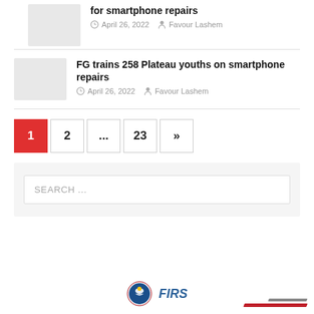for smartphone repairs
April 26, 2022   Favour Lashem
FG trains 258 Plateau youths on smartphone repairs
April 26, 2022   Favour Lashem
1
2
...
23
»
SEARCH ...
[Figure (logo): FIRS (Federal Inland Revenue Service) logo with circular emblem and stylized text, plus red and grey diagonal stripes]